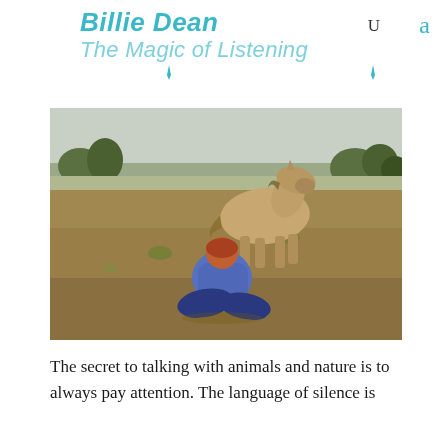Billie Dean
The Magic of Listening
[Figure (photo): A person sitting cross-legged on dry grass in a field, facing a light brown horse that is walking toward them. Trees and hills visible in the background under an overcast sky.]
The secret to talking with animals and nature is to always pay attention. The language of silence is